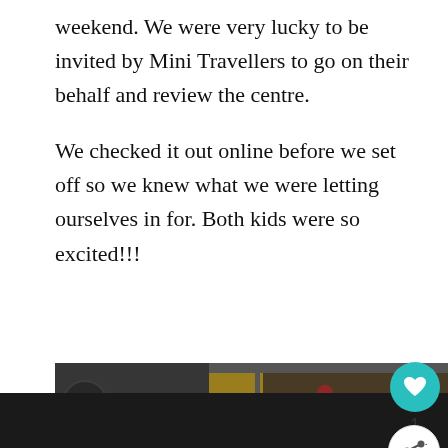weekend. We were very lucky to be invited by Mini Travellers to go on their behalf and review the centre.
We checked it out online before we set off so we knew what we were letting ourselves in for. Both kids were so excited!!!
[Figure (photo): Indoor climbing/activity centre photo showing colourful climbing walls with holds, yellow and orange padding, a woman in black throwing a ball, and children in the background. Signs reading START are visible.]